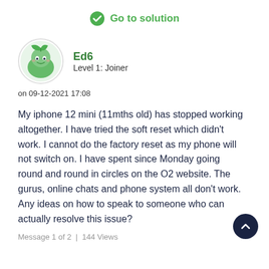Go to solution
[Figure (illustration): Green circular user avatar with cartoon face and leaf design]
Ed6
Level 1: Joiner
on 09-12-2021 17:08
My iphone 12 mini (11mths old) has stopped working altogether. I have tried the soft reset which didn't work. I cannot do the factory reset as my phone will not switch on. I have spent since Monday going round and round in circles on the O2 website. The gurus, online chats and phone system all don't work. Any ideas on how to speak to someone who can actually resolve this issue?
Message 1 of 2   |   144 Views